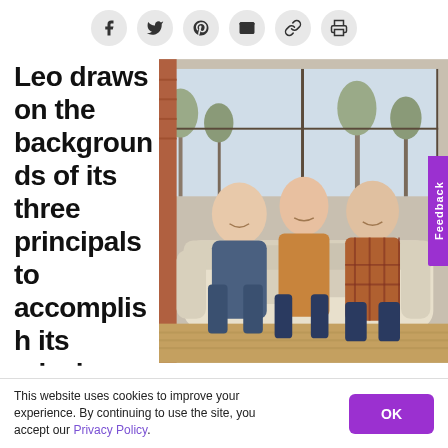Social share icons: Facebook, Twitter, Pinterest, Email, Link, Print
Leo draws on the backgrounds of its three principals to accomplish its mission
[Figure (photo): Three people (two men and a woman) sitting on a cream-colored sofa in a room with large windows and exposed brick, smiling at camera]
Feedback
This website uses cookies to improve your experience. By continuing to use the site, you accept our Privacy Policy.